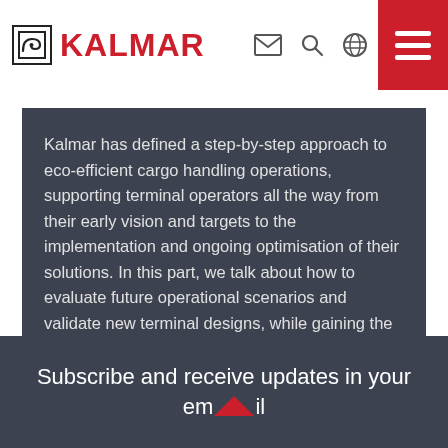Kalmar (logo and navigation header)
Kalmar has defined a step-by-step approach to eco-efficient cargo handling operations, supporting terminal operators all the way from their early vision and targets to the implementation and ongoing optimisation of their solutions. In this part, we talk about how to evaluate future operational scenarios and validate new terminal designs, while gaining the best possible foresight into the impact of various eco-efficient solutions.
Eco efficiency
Subscribe and receive updates in your email